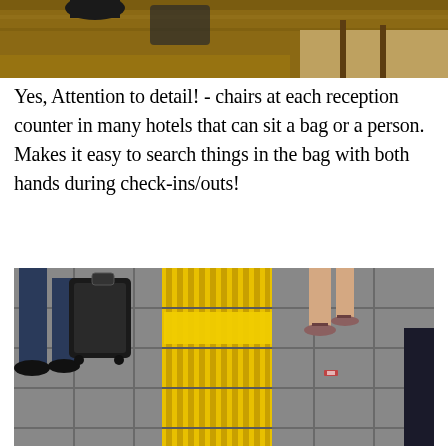[Figure (photo): Top portion of a hotel reception counter area showing chairs, wooden surfaces and carpeted floor.]
Yes, Attention to detail! - chairs at each reception counter in many hotels that can sit a bag or a person. Makes it easy to search things in the bag with both hands during check-ins/outs!
[Figure (photo): Street-level photo of yellow tactile paving guide strips on grey tiled sidewalk, with pedestrians' legs and feet visible around it. One person is pulling a black wheeled suitcase.]